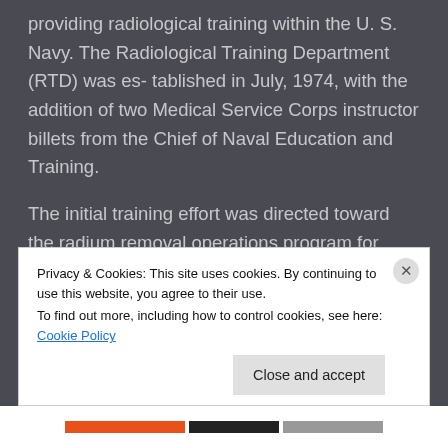providing radiological training within the U. S. Navy. The Radiological Training Department (RTD) was es- tablished in July, 1974, with the addition of two Medical Service Corps instructor billets from the Chief of Naval Education and Training.
The initial training effort was directed toward the radium removal operations program for inactive Naval vessels. Responsibility for this course was transferred to NNPU following the
Privacy & Cookies: This site uses cookies. By continuing to use this website, you agree to their use.
To find out more, including how to control cookies, see here: Cookie Policy
Close and accept